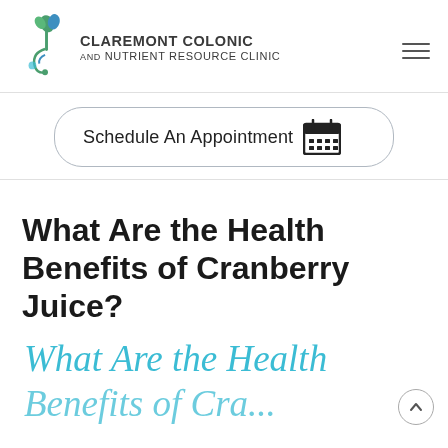[Figure (logo): Claremont Colonic and Nutrient Resource Clinic logo with stylized plant/leaf icon in blue and green]
Schedule An Appointment
What Are the Health Benefits of Cranberry Juice?
What Are the Health Benefits of Cranberry Juice? (decorative italic script)